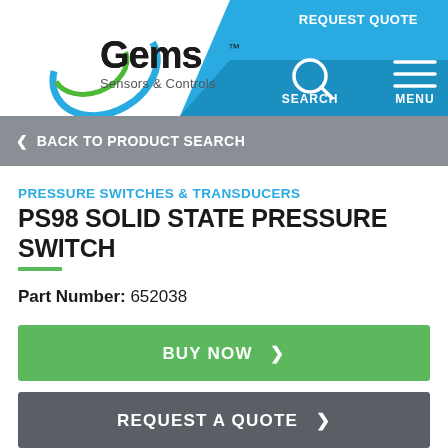[Figure (logo): Gems Sensors & Controls logo with blue swoosh graphic on white background]
REQUEST QUOTE | SEARCH | MENU
< BACK TO PRODUCT SEARCH
PRESSURE SWITCHES & TRANSDUCERS
PS98 SOLID STATE PRESSURE SWITCH
Part Number: 652038
BUY NOW >
REQUEST A QUOTE >